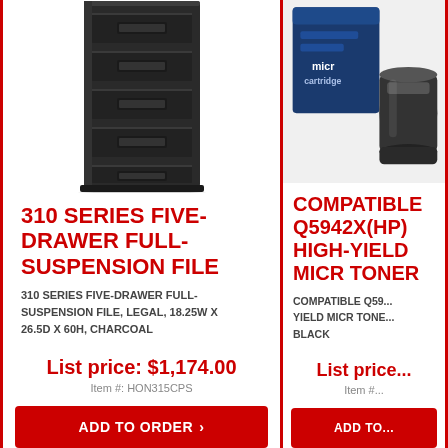[Figure (photo): Black metal five-drawer filing cabinet, full-suspension, legal size, charcoal color]
310 SERIES FIVE-DRAWER FULL-SUSPENSION FILE
310 SERIES FIVE-DRAWER FULL-SUSPENSION FILE, LEGAL, 18.25W X 26.5D X 60H, CHARCOAL
List price: $1,174.00
Item #: HON315CPS
ADD TO ORDER
[Figure (photo): Blue box packaging for compatible MICR toner cartridge with a black toner cartridge visible beside it]
COMPATIBLE Q5942X(HP) HIGH-YIELD MICR TONER
COMPATIBLE Q5942X... HIGH YIELD MICR TONER BLACK
List price: ...
Item #: ...
ADD TO ORDER